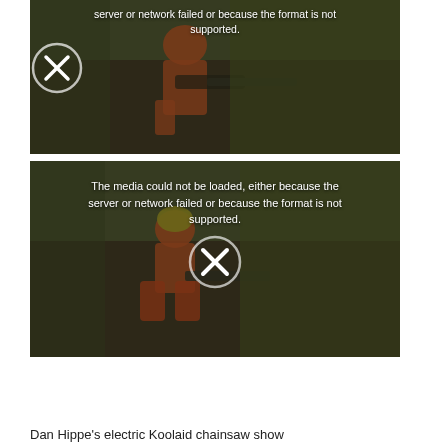[Figure (screenshot): Video player error: media could not be loaded. Shows a person in orange gear using a chainsaw in a forest. Error message reads 'server or network failed or because the format is not supported.' with an X icon circle overlay.]
[Figure (screenshot): Second video player error: media could not be loaded. Shows a person in orange gear kneeling with a chainsaw in a forest. Error message reads 'The media could not be loaded, either because the server or network failed or because the format is not supported.' with an X icon circle overlay.]
Dan Hippe's electric Koolaid chainsaw show